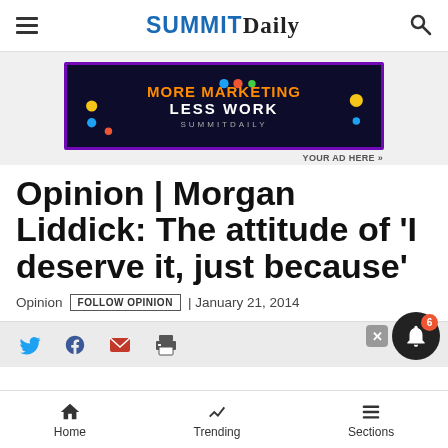Summit Daily
[Figure (infographic): Advertisement banner: MORE MARKETING LESS WORK - SummitDaily, with purple border on dark background]
YOUR AD HERE »
Opinion | Morgan Liddick: The attitude of 'I deserve it, just because'
Opinion FOLLOW OPINION | January 21, 2014
Home | Trending | Sections